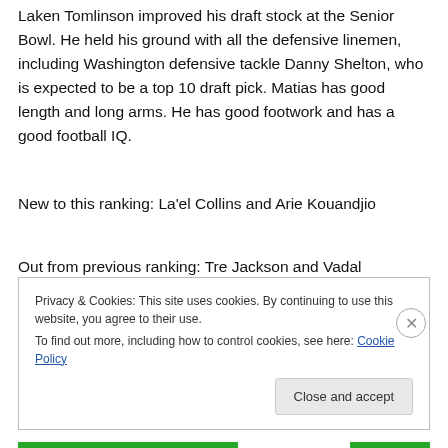Laken Tomlinson improved his draft stock at the Senior Bowl. He held his ground with all the defensive linemen, including Washington defensive tackle Danny Shelton, who is expected to be a top 10 draft pick. Matias has good length and long arms. He has good footwork and has a good football IQ.
New to this ranking: La'el Collins and Arie Kouandjio
Out from previous ranking: Tre Jackson and Vadal Alexander
Privacy & Cookies: This site uses cookies. By continuing to use this website, you agree to their use.
To find out more, including how to control cookies, see here: Cookie Policy